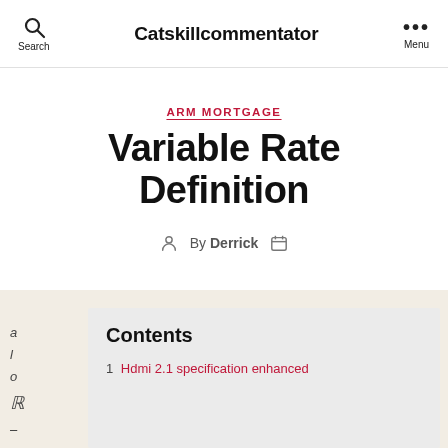Search  Catskillcommentator  Menu
ARM MORTGAGE
Variable Rate Definition
By Derrick
Contents
1. Hdmi 2.1 specification enhanced